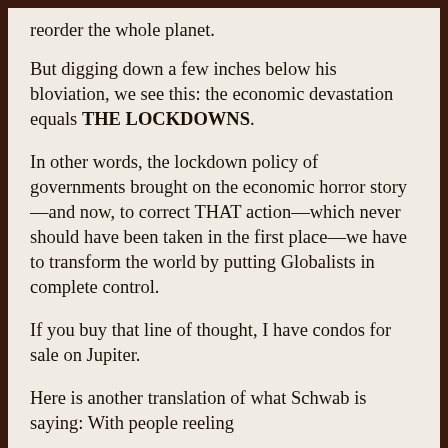reorder the whole planet.
But digging down a few inches below his bloviation, we see this: the economic devastation equals THE LOCKDOWNS.
In other words, the lockdown policy of governments brought on the economic horror story—and now, to correct THAT action—which never should have been taken in the first place—we have to transform the world by putting Globalists in complete control.
If you buy that line of thought, I have condos for sale on Jupiter.
Here is another translation of what Schwab is saying: With people reeling